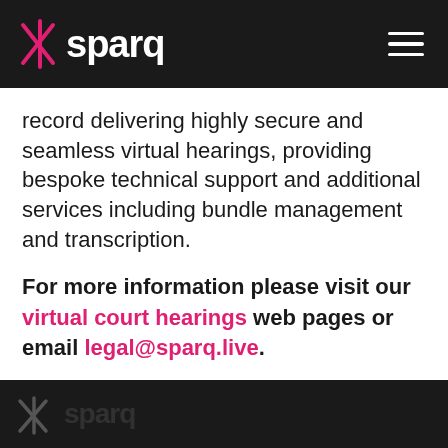sparq [logo with navigation hamburger menu]
record delivering highly secure and seamless virtual hearings, providing bespoke technical support and additional services including bundle management and transcription.
For more information please visit our virtual court hearings web pages or email legal@sparq.live.
sparq [footer logo]